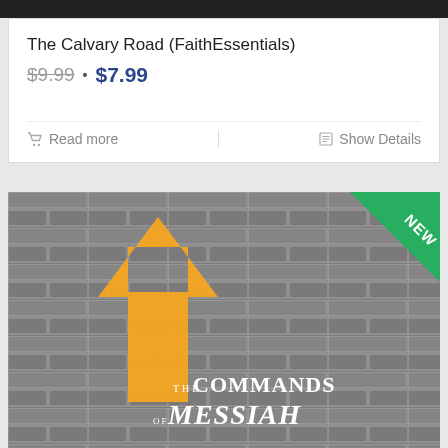The Calvary Road (FaithEssentials)
$9.99 • $7.99
Read more   Show Details
[Figure (photo): Book cover for 'The Commands of Messiah' showing a large orange upward arrow painted on a grey stone brick wall background. A green 'NEW' badge appears in the top-right corner of the image.]